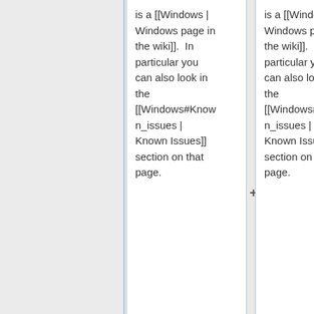is a [[Windows | Windows page in the wiki]].  In particular you can also look in the [[Windows#Known_issues | Known Issues]] section on that page.
is a [[Windows | Windows page in the wiki]].  In particular you can also look in the [[Windows#Known_issues | Known Issues]] section on that page.
+
+ ===Mobile===
+ ===='''Q:''' How do I run GnuCash on my mobile device? ====
:'''A:''' Unfortunately